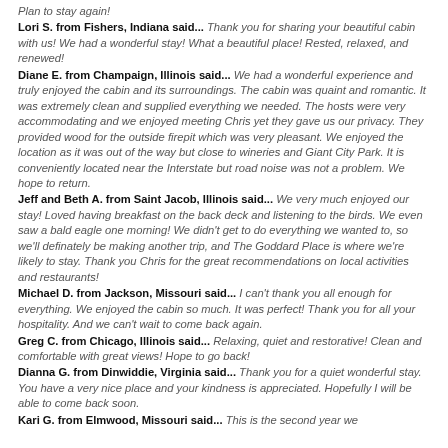Plan to stay again!
Lori S. from Fishers, Indiana said... Thank you for sharing your beautiful cabin with us! We had a wonderful stay! What a beautiful place! Rested, relaxed, and renewed!
Diane E. from Champaign, Illinois said... We had a wonderful experience and truly enjoyed the cabin and its surroundings. The cabin was quaint and romantic. It was extremely clean and supplied everything we needed. The hosts were very accommodating and we enjoyed meeting Chris yet they gave us our privacy. They provided wood for the outside firepit which was very pleasant. We enjoyed the location as it was out of the way but close to wineries and Giant City Park. It is conveniently located near the Interstate but road noise was not a problem. We hope to return.
Jeff and Beth A. from Saint Jacob, Illinois said... We very much enjoyed our stay! Loved having breakfast on the back deck and listening to the birds. We even saw a bald eagle one morning! We didn't get to do everything we wanted to, so we'll definately be making another trip, and The Goddard Place is where we're likely to stay. Thank you Chris for the great recommendations on local activities and restaurants!
Michael D. from Jackson, Missouri said... I can't thank you all enough for everything. We enjoyed the cabin so much. It was perfect! Thank you for all your hospitality. And we can't wait to come back again.
Greg C. from Chicago, Illinois said... Relaxing, quiet and restorative! Clean and comfortable with great views! Hope to go back!
Dianna G. from Dinwiddie, Virginia said... Thank you for a quiet wonderful stay. You have a very nice place and your kindness is appreciated. Hopefully I will be able to come back soon.
Kari G. from Elmwood, Missouri said... This is the second year we